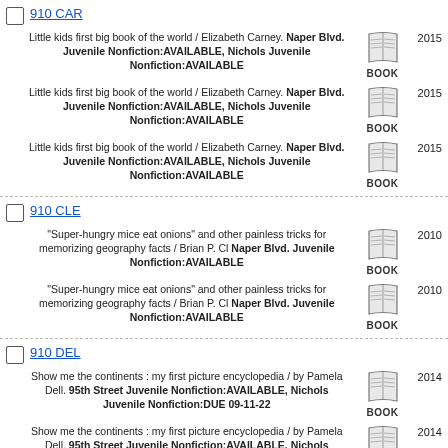910 CAR
Little kids first big book of the world / Elizabeth Carney. Naper Blvd. Juvenile Nonfiction:AVAILABLE, Nichols Juvenile Nonfiction:AVAILABLE 2015 BOOK
Little kids first big book of the world / Elizabeth Carney. Naper Blvd. Juvenile Nonfiction:AVAILABLE, Nichols Juvenile Nonfiction:AVAILABLE 2015 BOOK
Little kids first big book of the world / Elizabeth Carney. Naper Blvd. Juvenile Nonfiction:AVAILABLE, Nichols Juvenile Nonfiction:AVAILABLE 2015 BOOK
910 CLE
"Super-hungry mice eat onions" and other painless tricks for memorizing geography facts / Brian P. Cl Naper Blvd. Juvenile Nonfiction:AVAILABLE 2010 BOOK
"Super-hungry mice eat onions" and other painless tricks for memorizing geography facts / Brian P. Cl Naper Blvd. Juvenile Nonfiction:AVAILABLE 2010 BOOK
910 DEL
Show me the continents : my first picture encyclopedia / by Pamela Dell. 95th Street Juvenile Nonfiction:AVAILABLE, Nichols Juvenile Nonfiction:DUE 09-11-22 2014 BOOK
Show me the continents : my first picture encyclopedia / by Pamela Dell. 95th Street Juvenile Nonfiction:AVAILABLE, Nichols Juvenile Nonfiction:DUE 09-11-22 2014 BOOK
Show me the continents : my first picture encyclopedia / by Pamela Dell. 95th Street 2014 BOOK